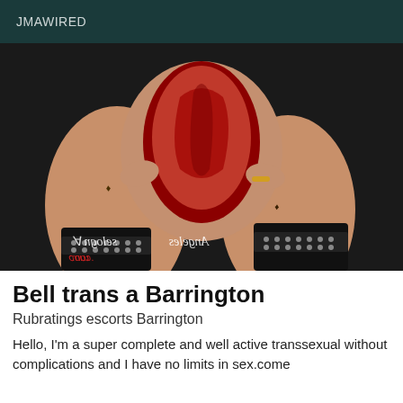JMAWIRED
[Figure (photo): A person wearing a red patterned bodysuit and black knee-high boots with studded detail, posed against a dark background. A mirrored watermark reading 'Angeles' and a red logo appear at the bottom left.]
Bell trans a Barrington
Rubratings escorts Barrington
Hello, I'm a super complete and well active transsexual without complications and I have no limits in sex.come